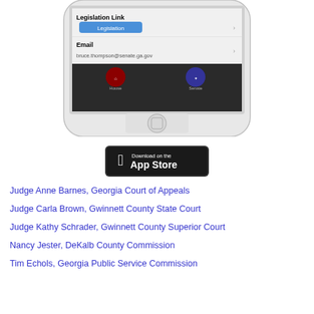[Figure (screenshot): iPhone showing a Georgia Legislature app with Legislation Link button, Legislation tab in blue, Email field showing bruce.thompson@senate.ga.gov, and bottom navigation tabs for House and Senate]
[Figure (logo): Download on the App Store button, black background with Apple logo and text]
Judge Anne Barnes, Georgia Court of Appeals
Judge Carla Brown, Gwinnett County State Court
Judge Kathy Schrader, Gwinnett County Superior Court
Nancy Jester, DeKalb County Commission
Tim Echols, Georgia Public Service Commission